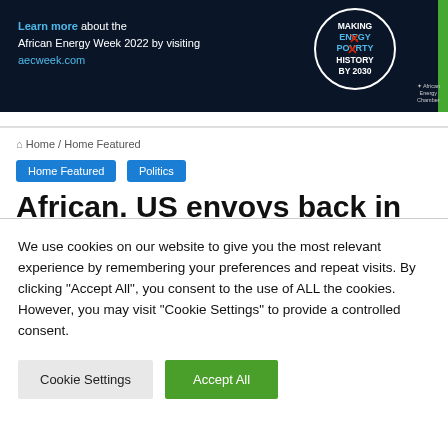[Figure (illustration): African Energy Chamber banner ad with dark blue background. Text reads 'Learn more about the African Energy Week 2022 by visiting aecweek.com'. Circle logo with 'MAKING ENERGY POVERTY HISTORY BY 2030'. Green stripe on right edge.]
Home / Home Featured
Home Featured   Politics
African. US envoys back in
We use cookies on our website to give you the most relevant experience by remembering your preferences and repeat visits. By clicking "Accept All", you consent to the use of ALL the cookies. However, you may visit "Cookie Settings" to provide a controlled consent.